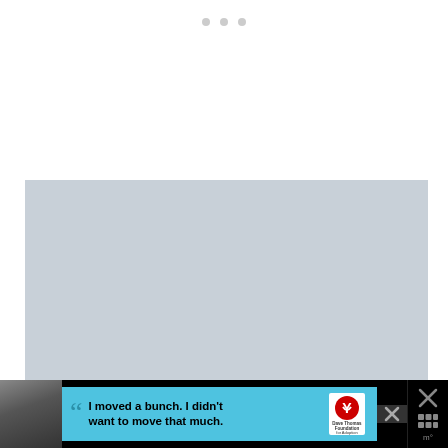[Figure (other): Three small gray dots (navigation indicators) centered near top of page]
[Figure (photo): Large light blue-gray image placeholder area, likely a photo of sky or background]
[Figure (infographic): Advertisement banner at bottom: black background with photo of a boy in gray shirt on left, light blue box with large quotation marks and bold text 'I moved a bunch. I didn't want to move that much.' Center has Dave Thomas Foundation for Adoption logo (red/white heart-Y shape). Right side has black panel with X close button and weather/app icons.]